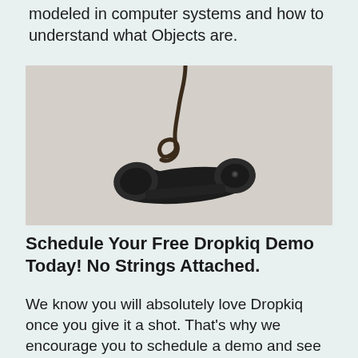modeled in computer systems and how to understand what Objects are.
[Figure (photo): A vintage black telephone handset with a cord, lying on a light gray background.]
Schedule Your Free Dropkiq Demo Today! No Strings Attached.
We know you will absolutely love Dropkiq once you give it a shot. That's why we encourage you to schedule a demo and see what you've been